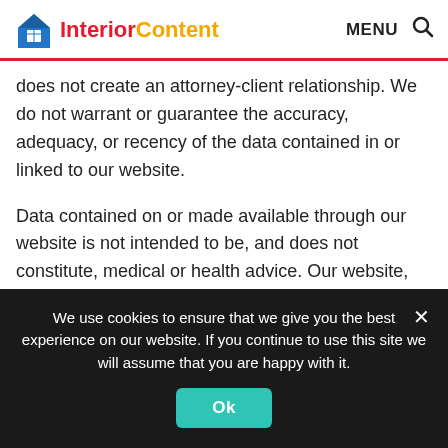InteriorContent   MENU 🔍
does not create an attorney-client relationship. We do not warrant or guarantee the accuracy, adequacy, or recency of the data contained in or linked to our website.
Data contained on or made available through our website is not intended to be, and does not constitute, medical or health advice. Our website, and your use of it, does not create a physician-patient relationship. We do not warrant or guarantee the accuracy, adequacy, or recency of the data contained in or linked to our website.
We use cookies to ensure that we give you the best experience on our website. If you continue to use this site we will assume that you are happy with it.